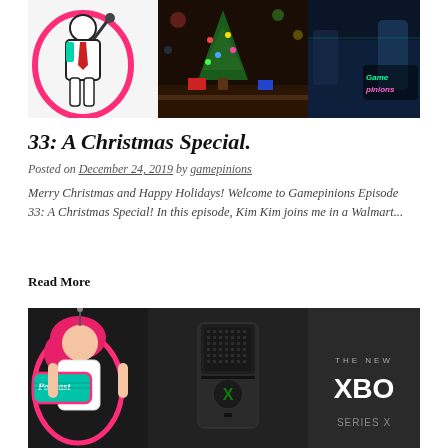[Figure (photo): Composite image showing a comic-style character on left, a Christmas scene in the middle, and a gaming screenshot with 'Gamepinions' logo on right]
33: A Christmas Special.
Posted on December 24, 2019 by gamepinions
Merry Christmas and Happy Holidays! Welcome to Gamepinions Episode 33: A Christmas Special! In this episode, Kim Kim joins me in a Walmart...
Read More
[Figure (photo): Composite image showing a pink-haired comic character with a Podcast sign on the left, an Xbox Series X console in the middle, and THE NEW XBOX text on the right against a dark background]